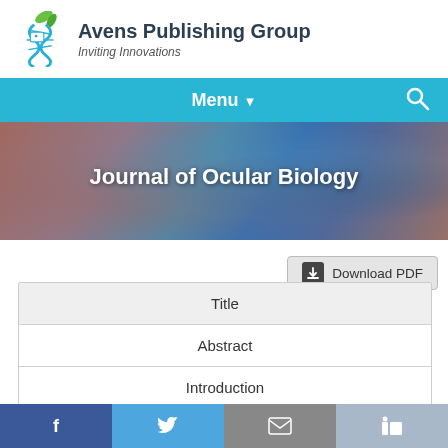[Figure (logo): Avens Publishing Group logo with green leaf and blue DNA helix icon]
Avens Publishing Group
Inviting Innovations
Menu ▼
[Figure (photo): Blurred close-up photograph of a human eye serving as hero banner background]
Journal of Ocular Biology
Download PDF
| Title |
| Abstract |
| Introduction |
| Materials and Methods (partial) |
[Figure (infographic): Social media share bar with Facebook, Twitter, Email, and LinkedIn buttons]